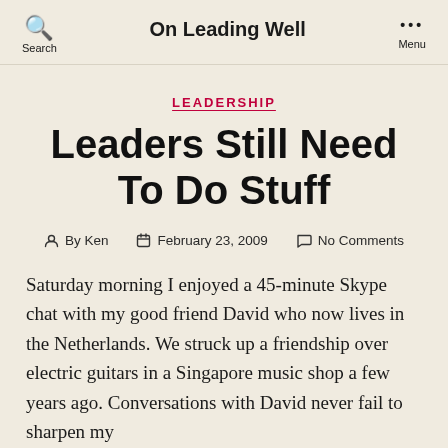On Leading Well
LEADERSHIP
Leaders Still Need To Do Stuff
By Ken  February 23, 2009  No Comments
Saturday morning I enjoyed a 45-minute Skype chat with my good friend David who now lives in the Netherlands. We struck up a friendship over electric guitars in a Singapore music shop a few years ago. Conversations with David never fail to sharpen my